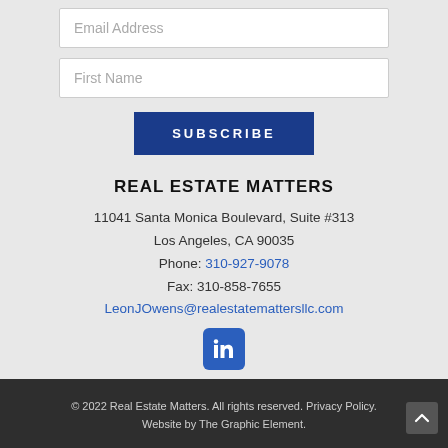Email Address
First Name
SUBSCRIBE
REAL ESTATE MATTERS
11041 Santa Monica Boulevard, Suite #313
Los Angeles, CA 90035
Phone: 310-927-9078
Fax: 310-858-7655
LeonJOwens@realestatemattersllc.com
[Figure (logo): LinkedIn icon — white 'in' on blue rounded square]
© 2022 Real Estate Matters. All rights reserved. Privacy Policy. Website by The Graphic Element.